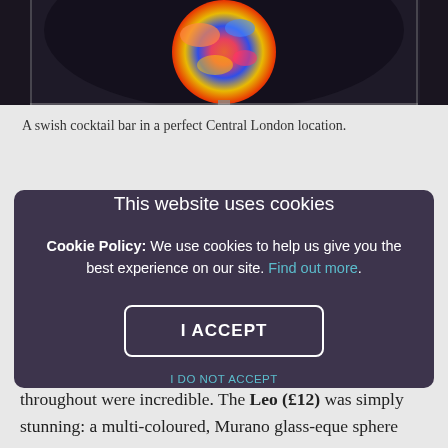[Figure (photo): Partial image of a colorful cocktail in a Murano glass-style sphere, against a dark background]
A swish cocktail bar in a perfect Central London location.
This website uses cookies

Cookie Policy: We use cookies to help us give you the best experience on our site. Find out more.

I ACCEPT

I DO NOT ACCEPT
throughout were incredible. The Leo (£12) was simply stunning: a multi-coloured, Murano glass-eque sphere